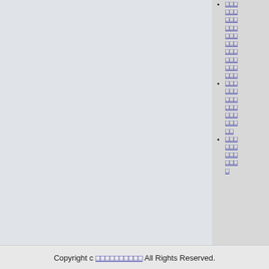□□□□□□□□□□□□□□□□□□□□□□□□□□□□□□□□□□□□□□□□□□
□□□□□□□□□□□□□□□□□□□□□□□□□□□□□□□□□□□□□□□□□□□□□□□
□□□□□□□□□□□□□□□□□□□□□□□□□□□□□□□□□□□□□□□□□
Copyright c □□□□□□□□□□ All Rights Reserved.